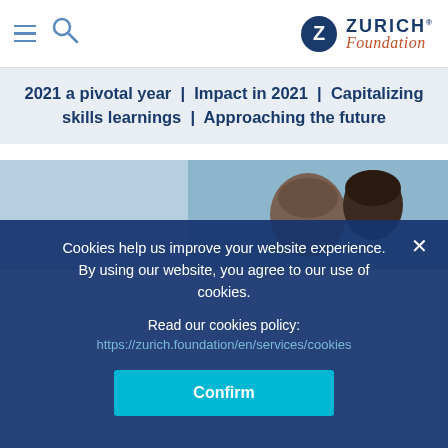[Figure (logo): Zurich Foundation logo with hamburger menu and search icon in header]
2021 a pivotal year | Impact in 2021 | Capitalizing skills learnings | Approaching the future
[Figure (photo): Partial photo of two people, partially obscured by cookie overlay]
Cookies help us improve your website experience. By using our website, you agree to our use of cookies.
Read our cookies policy:
https://zurich.foundation/en/services/cookies
Confirm